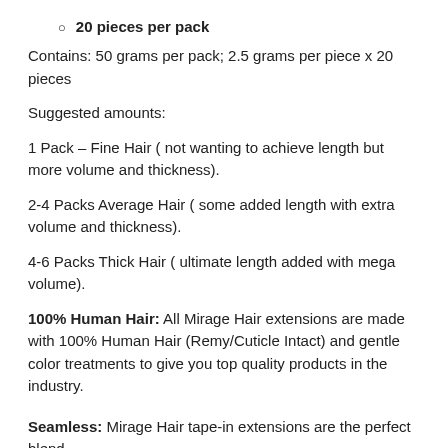20 pieces per pack
Contains: 50 grams per pack; 2.5 grams per piece x 20 pieces
Suggested amounts:
1 Pack – Fine Hair ( not wanting to achieve length but more volume and thickness).
2-4 Packs Average Hair ( some added length with extra volume and thickness).
4-6 Packs Thick Hair ( ultimate length added with mega volume).
100% Human Hair: All Mirage Hair extensions are made with 100% Human Hair (Remy/Cuticle Intact) and gentle color treatments to give you top quality products in the industry.
Seamless: Mirage Hair tape-in extensions are the perfect blend